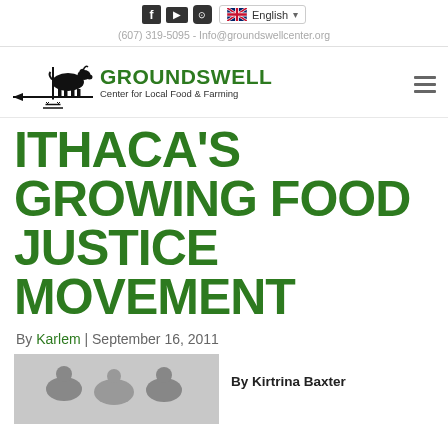f  ▶  @ English  |  (607) 319-5095 - Info@groundswellcenter.org
[Figure (logo): Groundswell Center for Local Food & Farming logo with goat on weather vane]
ITHACA'S GROWING FOOD JUSTICE MOVEMENT
By Karlem | September 16, 2011
[Figure (photo): People working in a field/farm setting, black and white photo]
By Kirtrina Baxter